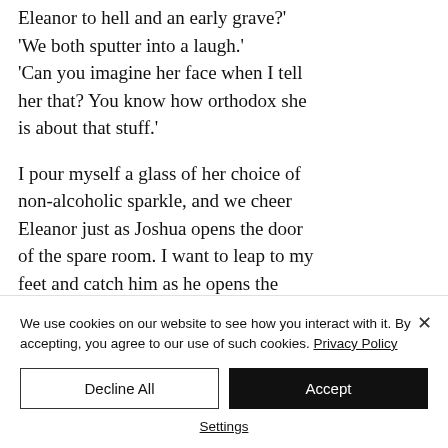Eleanor to hell and an early grave?' 'We both sputter into a laugh.' 'Can you imagine her face when I tell her that? You know how orthodox she is about that stuff.'

I pour myself a glass of her choice of non-alcoholic sparkle, and we cheer Eleanor just as Joshua opens the door of the spare room. I want to leap to my feet and catch him as he opens the
We use cookies on our website to see how you interact with it. By accepting, you agree to our use of such cookies. Privacy Policy
Decline All
Accept
Settings